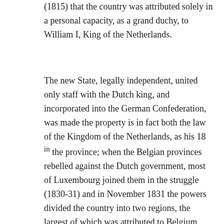(1815) that the country was attributed solely in a personal capacity, as a grand duchy, to William I, King of the Netherlands.
The new State, legally independent, united only staff with the Dutch king, and incorporated into the German Confederation, was made the property is in fact both the law of the Kingdom of the Netherlands, as his 18 in the province; when the Belgian provinces rebelled against the Dutch government, most of Luxembourg joined them in the struggle (1830-31) and in November 1831 the powers divided the country into two regions, the largest of which was attributed to Belgium (the today the province of Luxembourg), while the younger remained with William, despite the presence of a Prussian garrison, until 1867, when in the Treaty of London Luxembourg's neutrality was sanctioned and sovereignty over it was assigned to the Nassau branch. On the death of William III, without a male heir, the country passed to Duke Adolfo di Nassau (1890), with whom the union of Luxembourg with the Netherlands